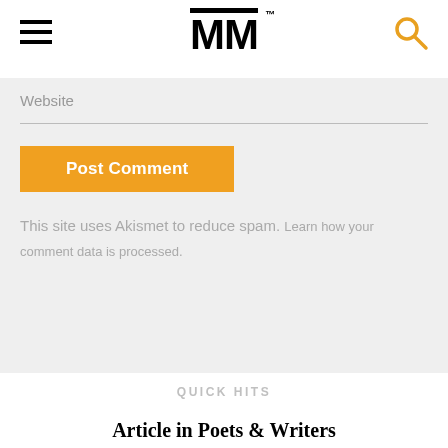MM (logo with TM mark)
Website
Post Comment
This site uses Akismet to reduce spam. Learn how your comment data is processed.
QUICK HITS
Article in Poets & Writers